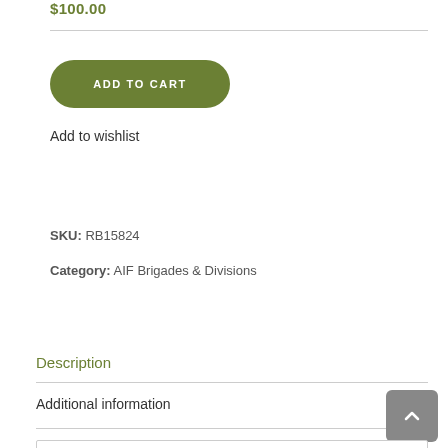$100.00
[Figure (other): ADD TO CART button — olive green rounded rectangle button]
Add to wishlist
SKU: RB15824
Category: AIF Brigades & Divisions
Description
Additional information
[Figure (other): Scroll to top button — grey rounded square with upward chevron arrow]